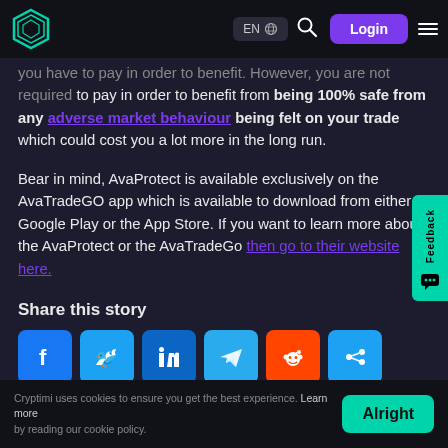EN | Login [navigation bar with logo, language selector, search, login button, menu]
you have to pay in order to benefit. However, you are not required to pay in order to benefit from being 100% safe from any adverse market behaviour being felt on your trade which could cost you a lot more in the long run.
Bear in mind, AvaProtect is available exclusively on the AvaTradeGO app which is available to download from either Google Play or the App Store. If you want to learn more about the AvaProtect or the AvaTradeGo then go to their website here.
Share this story
[Figure (infographic): Row of social media share icons: Facebook, Twitter, LinkedIn, Telegram, Reddit, ShareThis]
Cryptimi uses cookies to ensure you get the best experience. Learn more by reading our cookie policy. [Alright button]